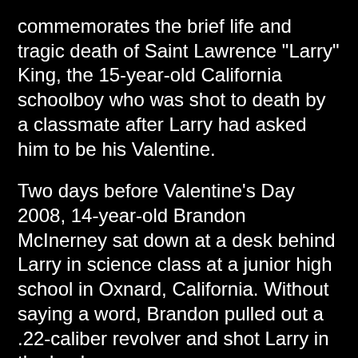commemorates the brief life and tragic death of Saint Lawrence "Larry" King, the 15-year-old California schoolboy who was shot to death by a classmate after Larry had asked him to be his Valentine.
Two days before Valentine's Day 2008, 14-year-old Brandon McInerney sat down at a desk behind Larry in science class at a junior high school in Oxnard, California. Without saying a word, Brandon pulled out a .22-caliber revolver and shot Larry in the back.
As Larry slumped to the floor amid screams from horrified students, Brandon quietly stood up and fired a "coup de grace" shot to the back of Larry's head, killing him.
Brandon had teased and taunted Larry for months, ridiculing Larry's sissified mannerisms. He attempted to enlist other boys to beat up Larry. When that failed